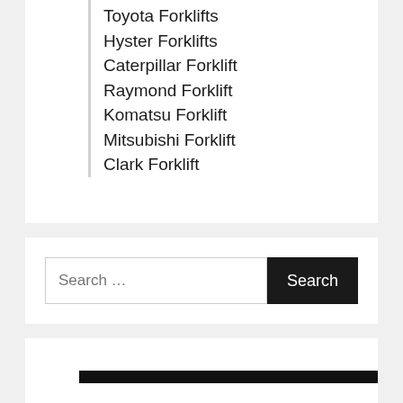Toyota Forklifts
Hyster Forklifts
Caterpillar Forklift
Raymond Forklift
Komatsu Forklift
Mitsubishi Forklift
Clark Forklift
Search ...
[Figure (screenshot): Search widget with text input and Search button]